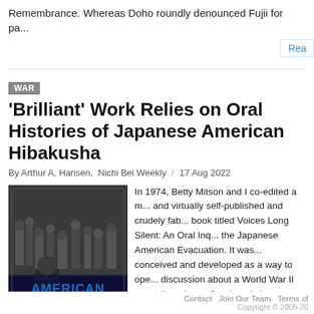Remembrance. Whereas Doho roundly denounced Fujii for pa...
Rea
WAR
'Brilliant' Work Relies on Oral Histories of Japanese American Hibakusha
By Arthur A. Hansen,  Nichi Bei Weekly  /  17 Aug 2022
[Figure (photo): Book cover of 'American Survivors: Trans-Pacific Memories of Hiroshima & Nagasaki' by Naoko Wake, showing a black and white photo of people with blue title text]
In 1974, Betty Mitson and I co-edited a m... and virtually self-published and crudely fab... book titled Voices Long Silent: An Oral Inq... the Japanese American Evacuation. It was... conceived and developed as a way to ope... discussion about a World War II event tha... heretofore largely been muted by the gen... public and even the Japanese American community: the Nikkei's wholesale and un... eviction by the U.S. government from thei...
Contact   Join Our Team   Terms of
Copyright © 2005-20